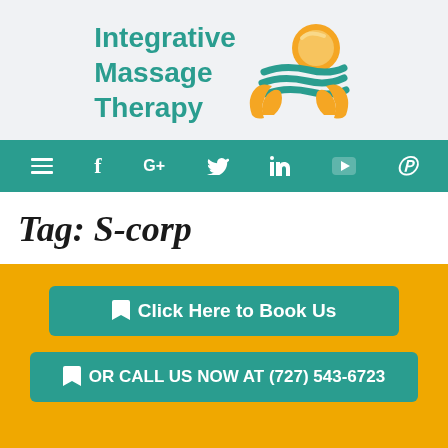[Figure (logo): Integrative Massage Therapy logo with sun, waves, and hands graphic]
[Figure (infographic): Navigation bar with hamburger menu, Facebook, Google+, Twitter, LinkedIn, YouTube, Pinterest icons on teal background]
Tag: S-corp
Click Here to Book Us
OR CALL US NOW AT (727) 543-6723